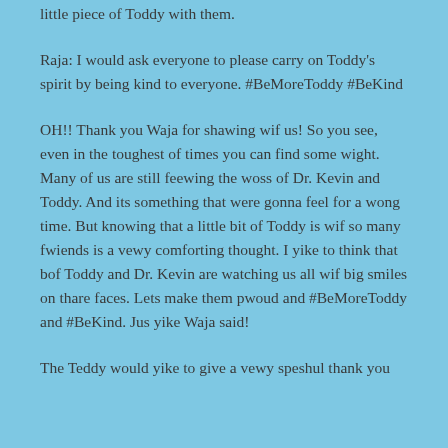little piece of Toddy with them.
Raja: I would ask everyone to please carry on Toddy's spirit by being kind to everyone. #BeMoreToddy #BeKind
OH!! Thank you Waja for shawing wif us! So you see, even in the toughest of times you can find some wight. Many of us are still feewing the woss of Dr. Kevin and Toddy. And its something that were gonna feel for a wong time. But knowing that a little bit of Toddy is wif so many fwiends is a vewy comforting thought. I yike to think that bof Toddy and Dr. Kevin are watching us all wif big smiles on thare faces. Lets make them pwoud and #BeMoreToddy and #BeKind. Jus yike Waja said!
The Teddy would yike to give a vewy speshul thank you